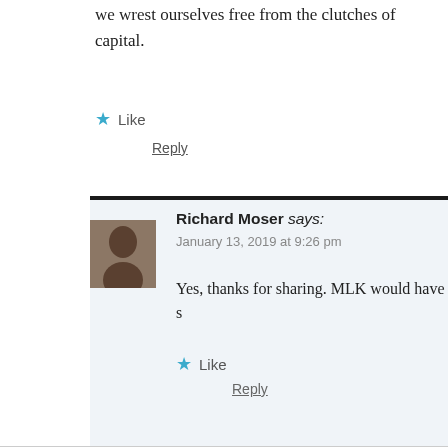we wrest ourselves free from the clutches of capital.
Like
Reply
Richard Moser says:
January 13, 2019 at 9:26 pm
Yes, thanks for sharing. MLK would have s
Like
Reply
Leave a Reply
Your email address will not be published. Required fields are m